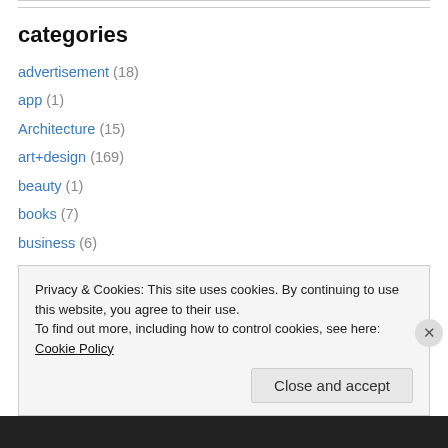categories
advertisement (18)
app (1)
Architecture (15)
art+design (169)
beauty (1)
books (7)
business (6)
cafe/restaurant (263)
entertainment (6)
Privacy & Cookies: This site uses cookies. By continuing to use this website, you agree to their use. To find out more, including how to control cookies, see here: Cookie Policy
Close and accept